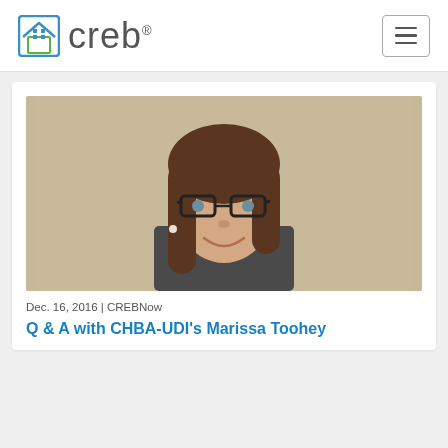creb®
[Figure (photo): Professional headshot of Marissa Toohey, a young woman with long brown hair, black-framed glasses, pearl earring, and dark blazer, smiling against a neutral beige background]
Dec. 16, 2016 | CREBNow
Q & A with CHBA-UDI's Marissa Toohey